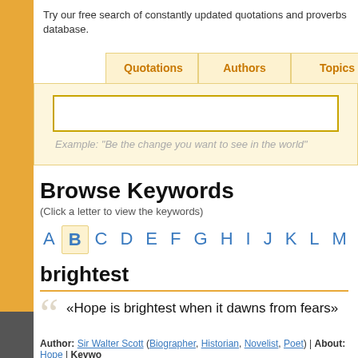Try our free search of constantly updated quotations and proverbs database.
Quotations | Authors | Topics | Keywords
Example: "Be the change you want to see in the world"
Browse Keywords
(Click a letter to view the keywords)
A B C D E F G H I J K L M N O P ...
brightest
«Hope is brightest when it dawns from fears»
Author: Sir Walter Scott (Biographer, Historian, Novelist, Poet) | About: Hope | Keyword...